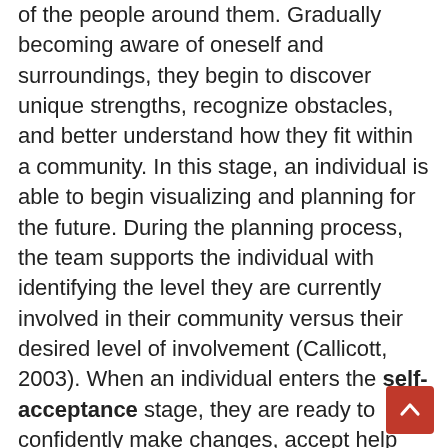of the people around them. Gradually becoming aware of oneself and surroundings, they begin to discover unique strengths, recognize obstacles, and better understand how they fit within a community. In this stage, an individual is able to begin visualizing and planning for the future. During the planning process, the team supports the individual with identifying the level they are currently involved in their community versus their desired level of involvement (Callicott, 2003). When an individual enters the self-acceptance stage, they are ready to confidently make changes, accept help and seek services within the community.
Self-advocacy is an essential component in nearly all aspects of life, as each individual identifies what they want in life, how to get it, and who will assist them in reaching their individual goals.